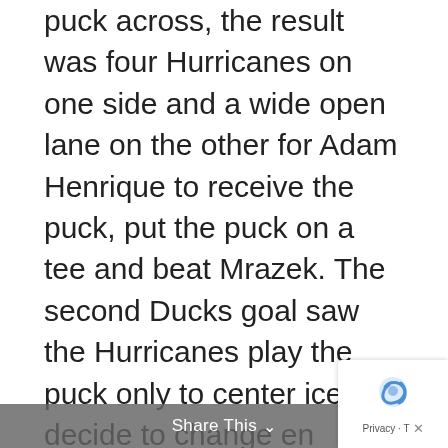puck across, the result was four Hurricanes on one side and a wide open lane on the other for Adam Henrique to receive the puck, put the puck on a tee and beat Mrazek. The second Ducks goal saw the Hurricanes play the puck only to center ice but decide to change en masse anyway. The group that came over the boards was immediately in triage mode trying to sort out coverage. One extra pass led to an open blast from up to through a screen to put the Ducks up 2-0. The Hurricanes were not so much dominated in the first period as they were sloppy. The two goals are what make the highlights, but the team had 3-4 other 'what the ?' plays in a first period that put an exclamation point on a recent trend of just to many unnecessary mistakes.
Share This